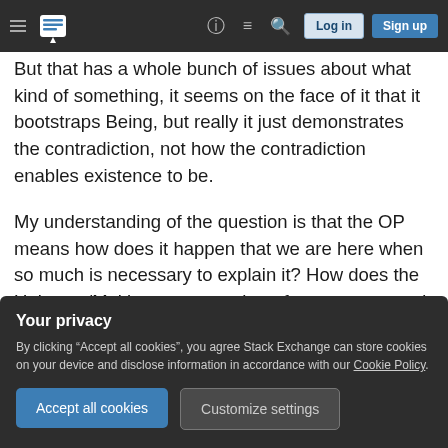Stack Exchange navigation bar with hamburger menu, logo, help, chat, search icons, Log in and Sign up buttons
But that has a whole bunch of issues about what kind of something, it seems on the face of it that it bootstraps Being, but really it just demonstrates the contradiction, not how the contradiction enables existence to be.
My understanding of the question is that the OP means how does it happen that we are here when so much is necessary to explain it? How does the Universe/Multiverse come about from an assumed earlier state of nothingness, or as an alternative to that state?
Your privacy
By clicking “Accept all cookies”, you agree Stack Exchange can store cookies on your device and disclose information in accordance with our Cookie Policy.
Accept all cookies
Customize settings